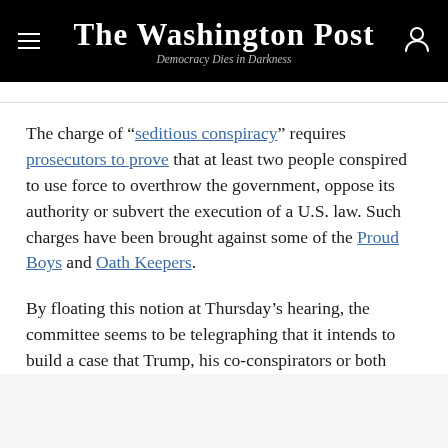The Washington Post — Democracy Dies in Darkness
The charge of “seditious conspiracy” requires prosecutors to prove that at least two people conspired to use force to overthrow the government, oppose its authority or subvert the execution of a U.S. law. Such charges have been brought against some of the Proud Boys and Oath Keepers.
By floating this notion at Thursday’s hearing, the committee seems to be telegraphing that it intends to build a case that Trump, his co-conspirators or both